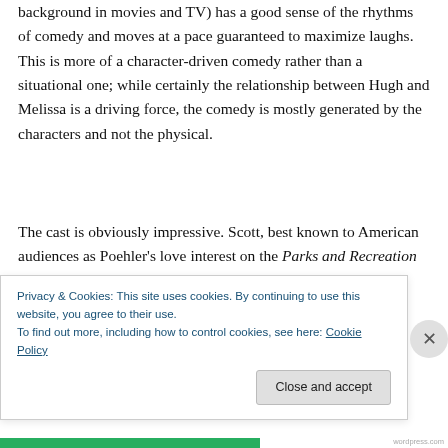background in movies and TV) has a good sense of the rhythms of comedy and moves at a pace guaranteed to maximize laughs. This is more of a character-driven comedy rather than a situational one; while certainly the relationship between Hugh and Melissa is a driving force, the comedy is mostly generated by the characters and not the physical.
The cast is obviously impressive. Scott, best known to American audiences as Poehler's love interest on the Parks and Recreation sitcom has been doing some pretty impressive work on the big screen as well, but here...
Privacy & Cookies: This site uses cookies. By continuing to use this website, you agree to their use.
To find out more, including how to control cookies, see here: Cookie Policy